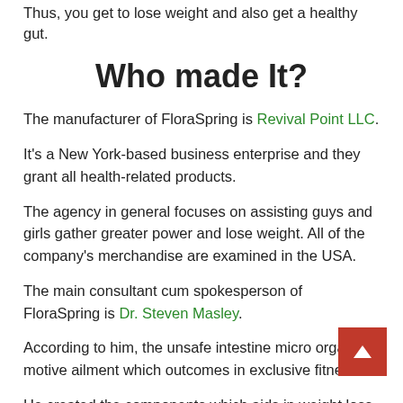Thus, you get to lose weight and also get a healthy gut.
Who made It?
The manufacturer of FloraSpring is Revival Point LLC.
It's a New York-based business enterprise and they grant all health-related products.
The agency in general focuses on assisting guys and girls gather greater power and lose weight. All of the company's merchandise are examined in the USA.
The main consultant cum spokesperson of FloraSpring is Dr. Steven Masley.
According to him, the unsafe intestine micro organism motive ailment which outcomes in exclusive fitness.
He created the components which aids in weight loss by way of helping your body to retain all the good bacteria and